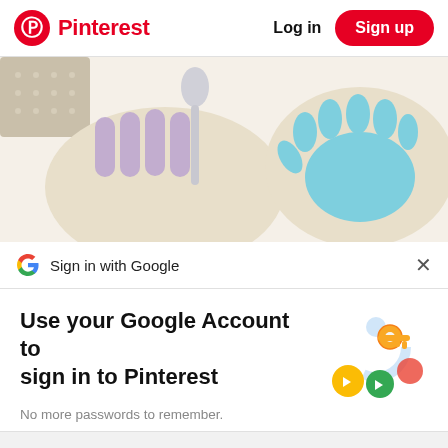Pinterest   Log in   Sign up
[Figure (photo): Two hand-shaped salt dough ornaments on a white surface: left one shows purple finger impressions with a silver spoon, right one shows a blue handprint on a beige oval dish. Decorative dotted paper visible in upper left.]
Sign in with Google
Use your Google Account to sign in to Pinterest
No more passwords to remember.
Signing in is fast, simple and secure.
[Figure (illustration): Google sign-in illustration showing a golden key with colorful circular icons (yellow, green, pink, blue) representing Google account security.]
Continue